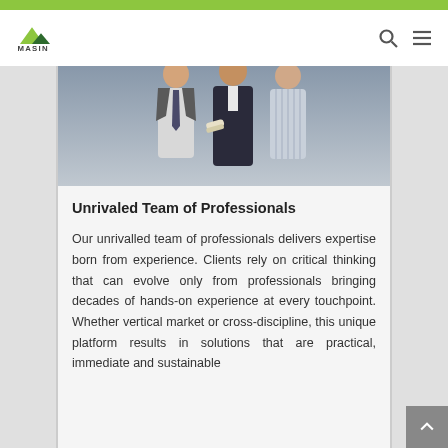MASIN
[Figure (photo): Two professionals in business attire, one holding rolled blueprints/documents, photographed from chest up]
Unrivaled Team of Professionals
Our unrivalled team of professionals delivers expertise born from experience. Clients rely on critical thinking that can evolve only from professionals bringing decades of hands-on experience at every touchpoint. Whether vertical market or cross-discipline, this unique platform results in solutions that are practical, immediate and sustainable